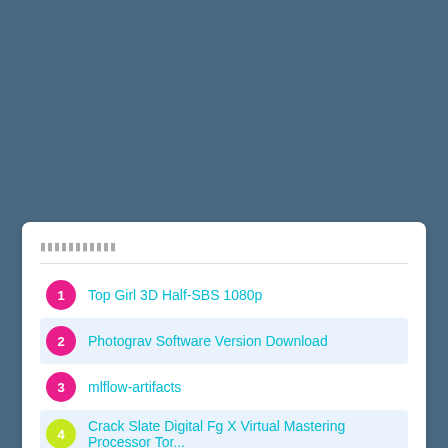▮▮▮▮▮▮▮▮▮▮▮
Top Girl 3D Half-SBS 1080p
Photograv Software Version Download
mlflow-artifacts
Crack Slate Digital Fg X Virtual Mastering Processor Tor...
i2c-frequency-counter